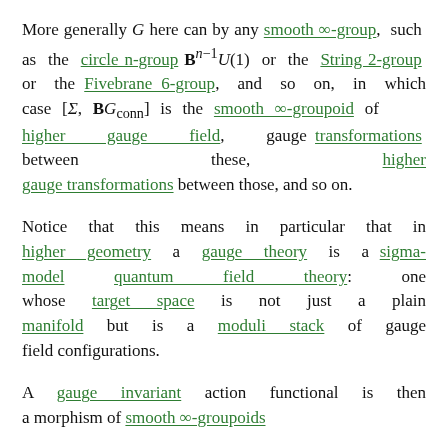More generally G here can by any smooth ∞-group, such as the circle n-group B^{n-1}U(1) or the String 2-group or the Fivebrane 6-group, and so on, in which case [Σ, BG_conn] is the smooth ∞-groupoid of higher gauge field, gauge transformations between these, higher gauge transformations between those, and so on.
Notice that this means in particular that in higher geometry a gauge theory is a sigma-model quantum field theory: one whose target space is not just a plain manifold but is a moduli stack of gauge field configurations.
A gauge invariant action functional is then a morphism of smooth ∞-groupoids